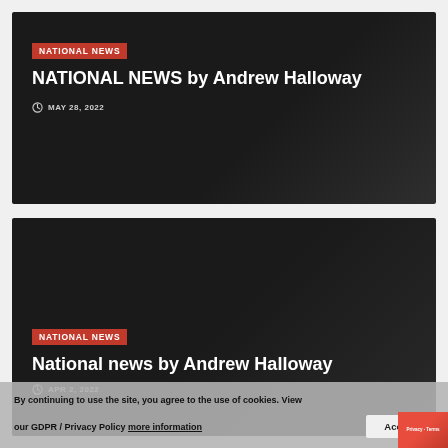[Figure (screenshot): Dark card with red NATIONAL NEWS tag, headline 'NATIONAL NEWS by Andrew Halloway', date MAY 28 2022]
NATIONAL NEWS by Andrew Halloway
MAY 28, 2022
[Figure (screenshot): Dark card with red NATIONAL NEWS tag, headline 'National news by Andrew Halloway', date APR 2, 2022]
National news by Andrew Halloway
APR 2, 2022
By continuing to use the site, you agree to the use of cookies. View our GDPR / Privacy Policy more information